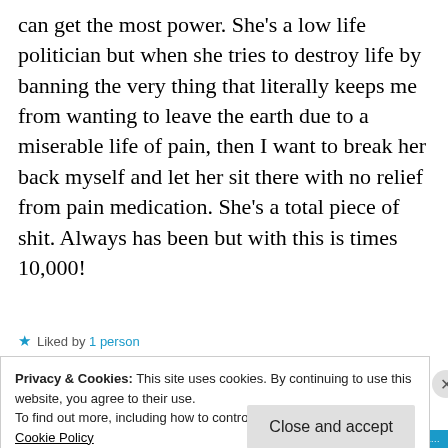can get the most power. She's a low life politician but when she tries to destroy life by banning the very thing that literally keeps me from wanting to leave the earth due to a miserable life of pain, then I want to break her back myself and let her sit there with no relief from pain medication. She's a total piece of shit. Always has been but with this is times 10,000!
★ Liked by 1 person
Privacy & Cookies: This site uses cookies. By continuing to use this website, you agree to their use.
To find out more, including how to control cookies, see here:
Cookie Policy
Close and accept